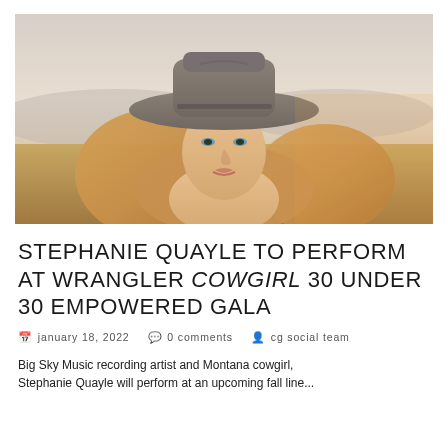[Figure (photo): Woman wearing a wide-brimmed cowboy hat with long blonde hair, photographed outdoors in a golden field with a road in the background, warm sunset lighting.]
STEPHANIE QUAYLE TO PERFORM AT WRANGLER COWGIRL 30 UNDER 30 EMPOWERED GALA
january 18, 2022   0 comments   cg social team
Big Sky Music recording artist and Montana cowgirl, Stephanie Quayle will perform at an upcoming fall line...